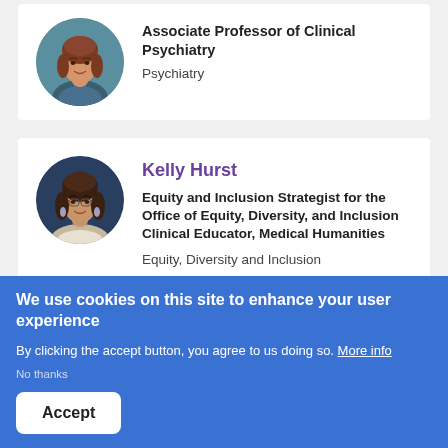[Figure (photo): Circular portrait photo of a woman with brown hair, smiling, against a teal background.]
Associate Professor of Clinical Psychiatry
Psychiatry
[Figure (photo): Circular portrait photo of Kelly Hurst, a woman with dark hair wearing earrings, against a dark blue background.]
Kelly Hurst
Equity and Inclusion Strategist for the Office of Equity, Diversity, and Inclusion Clinical Educator, Medical Humanities
Equity, Diversity and Inclusion
We use cookies on this site to enhance your user experience
By clicking the accept button, you agree to us doing so. More info
No thanks
Accept